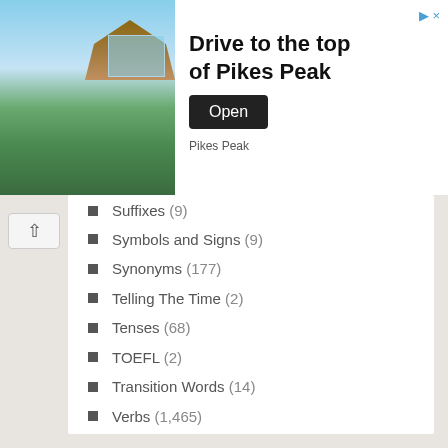[Figure (photo): Advertisement banner: photo of Pikes Peak building with sky background, text 'Drive to the top of Pikes Peak', Open button]
Suffixes (9)
Symbols and Signs (9)
Synonyms (177)
Telling The Time (2)
Tenses (68)
TOEFL (2)
Transition Words (14)
Verbs (1,465)
Vocabulary (337)
Ways to Say (90)
Writing (10)